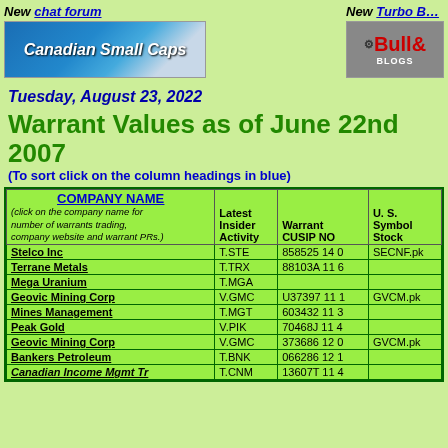New chat forum
[Figure (illustration): Canadian Small Caps banner logo with blue/green gradient background]
[Figure (illustration): Bull& Blogs banner with grey background, partial view cut off on right]
Tuesday, August 23, 2022
Warrant Values as of June 22nd 2007
(To sort click on the column headings in blue)
| COMPANY NAME | Latest Insider Activity | Warrant CUSIP NO | U.S. Symbol Stock |
| --- | --- | --- | --- |
| Stelco Inc | T.STE | 858525 14 0 | SECNF.pk |
| Terrane Metals | T.TRX | 88103A 11 6 |  |
| Mega Uranium | T.MGA |  |  |
| Geovic Mining Corp | V.GMC | U37397 11 1 | GVCM.pk |
| Mines Management | T.MGT | 603432 11 3 |  |
| Peak Gold | V.PIK | 70468J 11 4 |  |
| Geovic Mining Corp | V.GMC | 373686 12 0 | GVCM.pk |
| Bankers Petroleum | T.BNK | 066286 12 1 |  |
| Canadian Income Mgmt Tr | T.CNM | 13607T 11 4 |  |